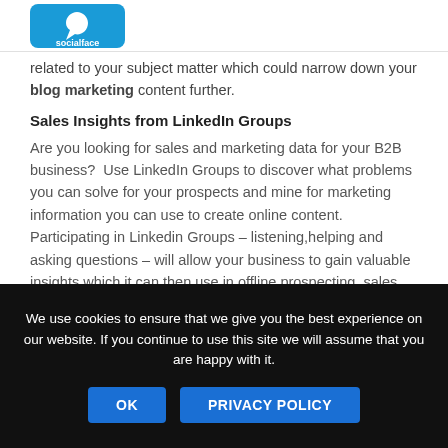socialface
related to your subject matter which could narrow down your blog marketing content further.
Sales Insights from LinkedIn Groups
Are you looking for sales and marketing data for your B2B business?  Use LinkedIn Groups to discover what problems you can solve for your prospects and mine for marketing information you can use to create online content.  Participating in Linkedin Groups – listening,helping and asking questions – will allow your business to gain valuable insights which it can then use in offline prospecting, sales calls and marketing materials.
Social Analytics and Demographics
We use cookies to ensure that we give you the best experience on our website. If you continue to use this site we will assume that you are happy with it.